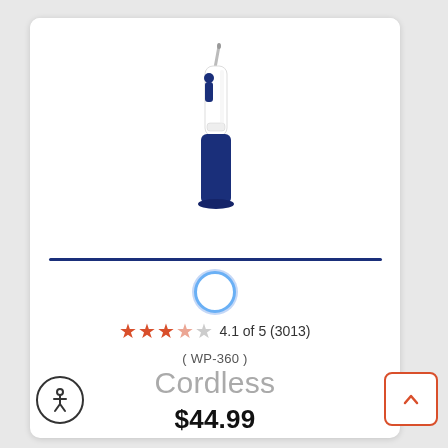[Figure (photo): A Waterpik WP-360 cordless water flosser with a white and dark navy blue body, featuring a curved nozzle tip at the top.]
4.1 of 5 (3013)
( WP-360 )
Cordless
$44.99